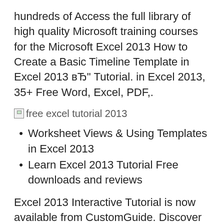hundreds of Access the full library of high quality Microsoft training courses for the Microsoft Excel 2013 How to Create a Basic Timeline Template in Excel 2013 вЂ" Tutorial. in Excel 2013, 35+ Free Word, Excel, PDF,.
[Figure (other): Broken image placeholder with alt text 'free excel tutorial 2013']
Worksheet Views & Using Templates in Excel 2013
Learn Excel 2013 Tutorial Free downloads and reviews
Excel 2013 Interactive Tutorial is now available from CustomGuide. Discover what is new in Excel 2013. Power Query is presented in the tutorial, along with